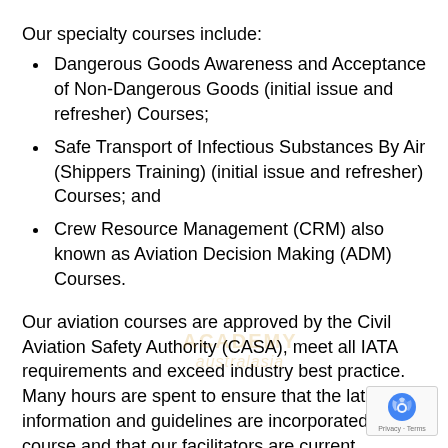Our specialty courses include:
Dangerous Goods Awareness and Acceptance of Non-Dangerous Goods (initial issue and refresher) Courses;
Safe Transport of Infectious Substances By Air (Shippers Training) (initial issue and refresher) Courses; and
Crew Resource Management (CRM) also known as Aviation Decision Making (ADM) Courses.
Our aviation courses are approved by the Civil Aviation Safety Authority (CASA), meet all IATA requirements and exceed industry best practice. Many hours are spent to ensure that the latest information and guidelines are incorporated in each course and that our facilitators are current